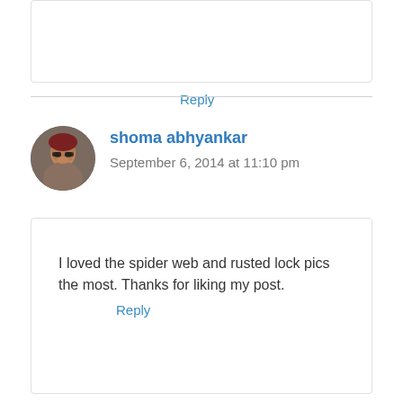Reply
shoma abhyankar
September 6, 2014 at 11:10 pm
I loved the spider web and rusted lock pics the most. Thanks for liking my post.
Reply